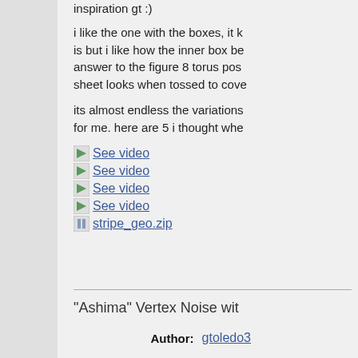inspiration gt :)
i like the one with the boxes, it k is but i like how the inner box be answer to the figure 8 torus pos sheet looks when tossed to cove
its almost endless the variations for me. here are 5 i thought whe
See video
See video
See video
See video
stripe_geo.zip
"Ashima" Vertex Noise wit
Author: gtoledo3
License: Creative Co
Date: 2012.09.01